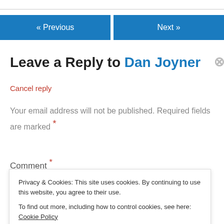« Previous | Next »
Leave a Reply to Dan Joyner
Cancel reply
Your email address will not be published. Required fields are marked *
Comment *
Privacy & Cookies: This site uses cookies. By continuing to use this website, you agree to their use.
To find out more, including how to control cookies, see here: Cookie Policy
Close and accept